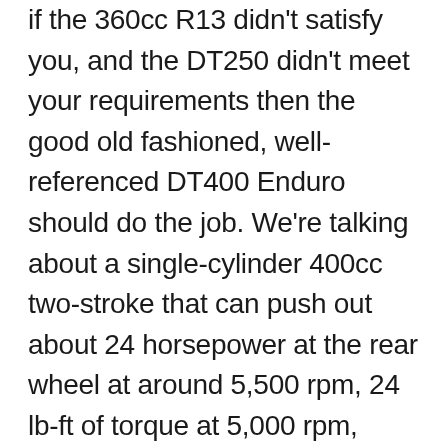if the 360cc R13 didn't satisfy you, and the DT250 didn't meet your requirements then the good old fashioned, well-referenced DT400 Enduro should do the job. We're talking about a single-cylinder 400cc two-stroke that can push out about 24 horsepower at the rear wheel at around 5,500 rpm, 24 lb-ft of torque at 5,000 rpm, reach speeds in excess of 80 mph, and weigh less than 300 pounds all in. All that with drum brakes too. Yes, this is a motorcycle that could tear up deserts, bushwhack through dense forests, and haul-ass over rocks – no matter the conditions, the DT400 could do it all. But